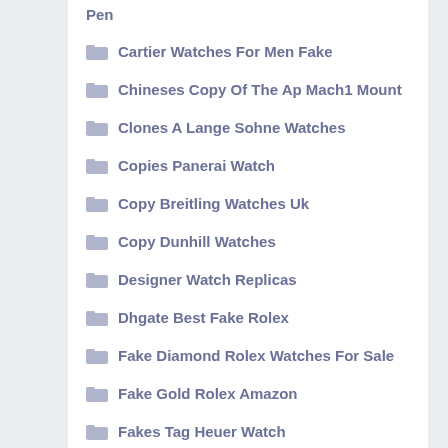Pen
Cartier Watches For Men Fake
Chineses Copy Of The Ap Mach1 Mount
Clones A Lange Sohne Watches
Copies Panerai Watch
Copy Breitling Watches Uk
Copy Dunhill Watches
Designer Watch Replicas
Dhgate Best Fake Rolex
Fake Diamond Rolex Watches For Sale
Fake Gold Rolex Amazon
Fakes Tag Heuer Watch